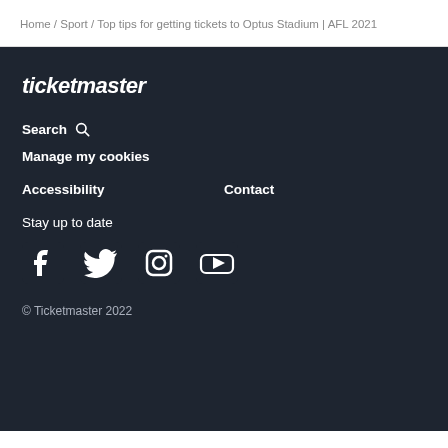Home / Sport / Top tips for getting tickets to Optus Stadium | AFL 2021
[Figure (logo): Ticketmaster logo in italic white text]
Search (with search icon)
Manage my cookies
Accessibility
Contact
Stay up to date
[Figure (other): Social media icons: Facebook, Twitter, Instagram, YouTube]
© Ticketmaster 2022